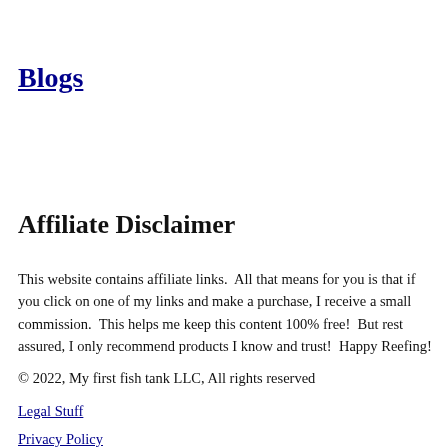Blogs
Affiliate Disclaimer
This website contains affiliate links.  All that means for you is that if you click on one of my links and make a purchase, I receive a small commission.  This helps me keep this content 100% free!  But rest assured, I only recommend products I know and trust!  Happy Reefing!
© 2022, My first fish tank LLC, All rights reserved
Legal Stuff
Privacy Policy